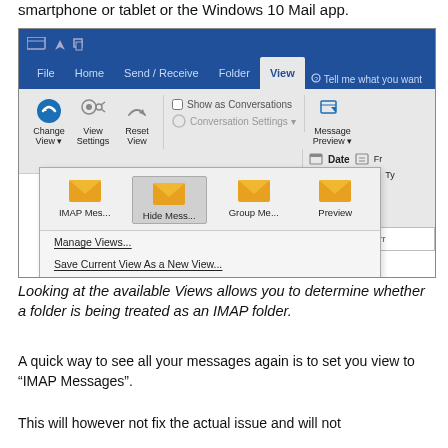smartphone or tablet or the Windows 10 Mail app.
[Figure (screenshot): Screenshot of Microsoft Outlook ribbon showing the View tab with a dropdown menu open displaying view options: IMAP Mes..., Hide Mess..., Group Me..., Preview, and menu items: Manage Views..., Save Current View As a New View..., Apply Current View to Other Mail Folders...]
Looking at the available Views allows you to determine whether a folder is being treated as an IMAP folder.
A quick way to see all your messages again is to set you view to “IMAP Messages”.
This will however not fix the actual issue and will not